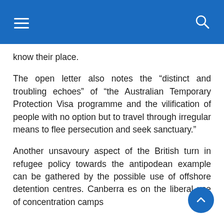Navigation bar with hamburger menu and search icon
know their place.
The open letter also notes the “distinct and troubling echoes” of “the Australian Temporary Protection Visa programme and the vilification of people with no option but to travel through irregular means to flee persecution and seek sanctuary.”
Another unsavoury aspect of the British turn in refugee policy towards the antipodean example can be gathered by the possible use of offshore detention centres. Canberra’s on the liberal use of concentration camps